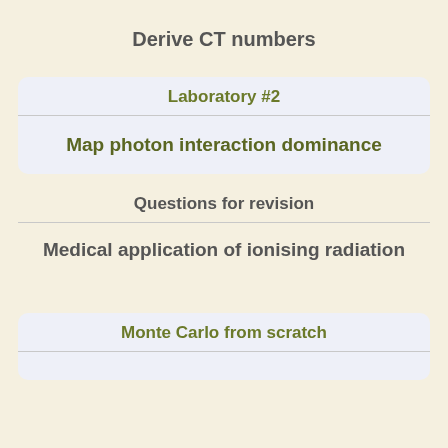Derive CT numbers
Laboratory #2
Map photon interaction dominance
Questions for revision
Medical application of ionising radiation
Monte Carlo from scratch